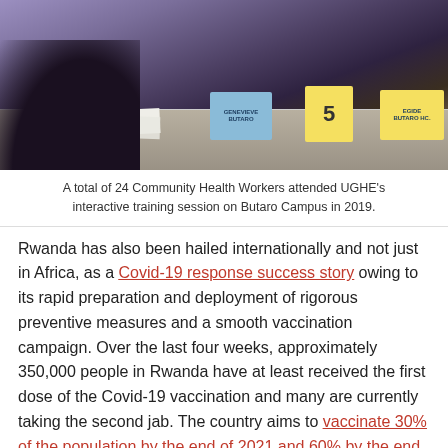[Figure (photo): People seated at a table in a training session. Name tents visible including 'Genevieve Butaro', '5', and 'Egide Butaro HC'. Person seen from behind wearing dark clothing.]
A total of 24 Community Health Workers attended UGHE's interactive training session on Butaro Campus in 2019.
Rwanda has also been hailed internationally and not just in Africa, as a Covid-19 response success story owing to its rapid preparation and deployment of rigorous preventive measures and a smooth vaccination campaign. Over the last four weeks, approximately 350,000 people in Rwanda have at least received the first dose of the Covid-19 vaccination and many are currently taking the second jab. The country aims to vaccinate 30% of the population by the end of 2021 and 60% by the end of 2022.